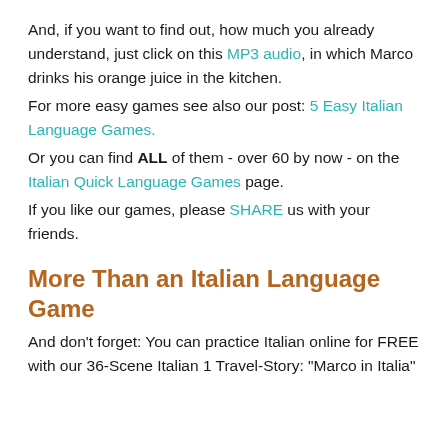And, if you want to find out, how much you already understand, just click on this MP3 audio, in which Marco drinks his orange juice in the kitchen.
For more easy games see also our post: 5 Easy Italian Language Games.
Or you can find ALL of them - over 60 by now - on the Italian Quick Language Games page.
If you like our games, please SHARE us with your friends.
More Than an Italian Language Game
And don't forget: You can practice Italian online for FREE with our 36-Scene Italian 1 Travel-Story: "Marco in Italia"